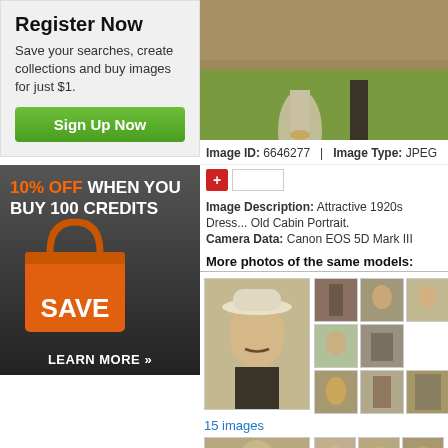Register Now
Save your searches, create collections and buy images for just $1.
Sign Up Now
[Figure (infographic): 10% OFF WHEN YOU BUY 100 CREDITS - Save - LEARN MORE advertisement banner with orange shopping bag]
[Figure (photo): Couple in 1920s dress, outdoor cabin portrait]
Image ID: 6646277  |  Image Type: JPEG
Image Description: Attractive 1920s Dress... Old Cabin Portrait.
Camera Data: Canon EOS 5D Mark III
More photos of the same models:
[Figure (photo): Main thumbnail: man in white hat, mustache, vintage portrait]
[Figure (photo): Grid of small model thumbnails]
15 images
[Figure (photo): Bottom row of thumbnails]